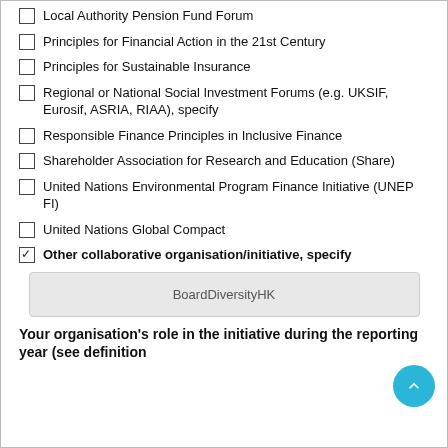Local Authority Pension Fund Forum
Principles for Financial Action in the 21st Century
Principles for Sustainable Insurance
Regional or National Social Investment Forums (e.g. UKSIF, Eurosif, ASRIA, RIAA), specify
Responsible Finance Principles in Inclusive Finance
Shareholder Association for Research and Education (Share)
United Nations Environmental Program Finance Initiative (UNEP FI)
United Nations Global Compact
Other collaborative organisation/initiative, specify
BoardDiversityHK
Your organisation's role in the initiative during the reporting year (see definition